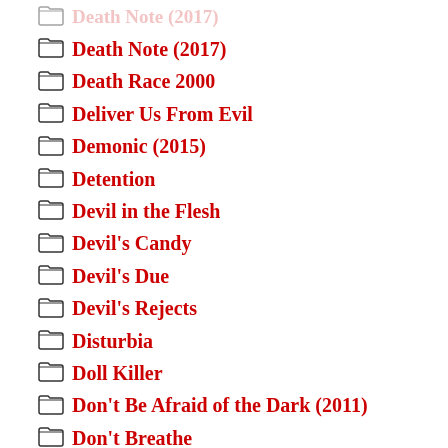Death Note (2017)
Death Race 2000
Deliver Us From Evil
Demonic (2015)
Detention
Devil in the Flesh
Devil's Candy
Devil's Due
Devil's Rejects
Disturbia
Doll Killer
Don't Be Afraid of the Dark (2011)
Don't Breathe
Don't Go in the Woods..Alone
Don't Hang Up